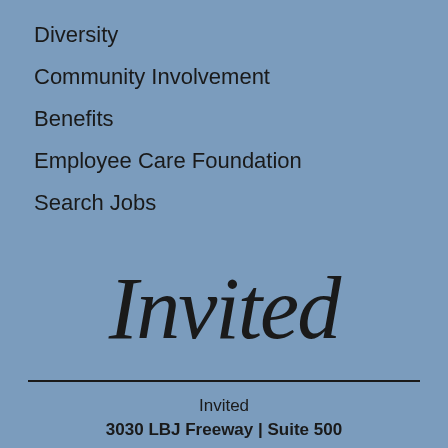Diversity
Community Involvement
Benefits
Employee Care Foundation
Search Jobs
[Figure (logo): Invited cursive script logo in black]
Invited
3030 LBJ Freeway | Suite 500